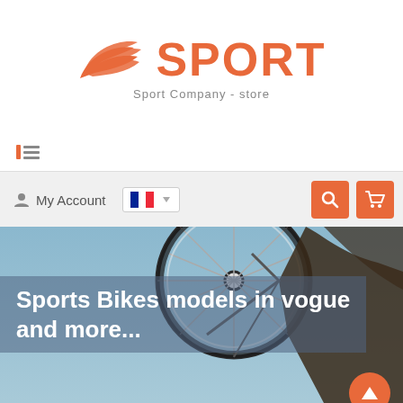[Figure (logo): Sport company logo with orange wing graphic and SPORT text, tagline 'Sport Company - store']
[Figure (infographic): Navigation bar with hamburger/list menu icon on white background]
[Figure (infographic): Site navigation bar with My Account user icon, French flag language selector with dropdown arrow, and orange search and cart icon buttons on grey background]
[Figure (photo): Hero banner photo of a sports bicycle wheel against a blue sky with a person in dark clothing, overlay text: 'Sports Bikes models in vogue and more...' with semi-transparent blue background, orange scroll-up button in bottom right corner]